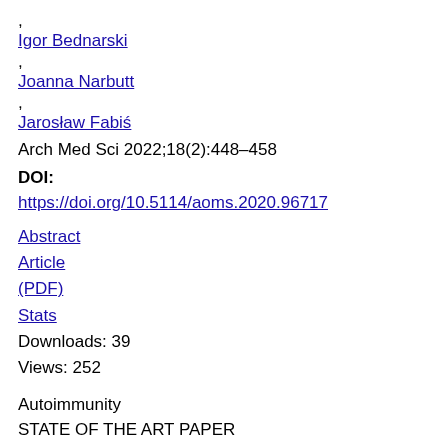,
Igor Bednarski
,
Joanna Narbutt
,
Jarosław Fabiś
Arch Med Sci 2022;18(2):448–458
DOI: https://doi.org/10.5114/aoms.2020.96717
Abstract
Article
(PDF)
Stats
Downloads: 39
Views: 252
Autoimmunity
STATE OF THE ART PAPER
High dietary salt intake activates inflammatory cascades via Th17 immune cells: impact on health and diseases